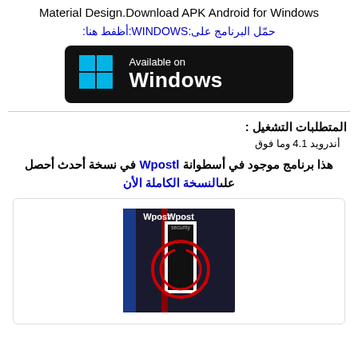Material Design.Download APK Android for Windows
حمّل البرنامج على:WINDOWS:أظفط هنا:
[Figure (screenshot): Available on Windows badge with cyan Windows logo on black rounded rectangle background]
المتطلبات التشغيل :
أندرويد 4.1 وما فوق
هذا برنامج موجود في أسطوانة Wpostl في نسخة أحدث أحصل علىالنسخة الكاملة الأن
[Figure (photo): Wpost Security software box art showing a dark figure in a doorway with red circular design]